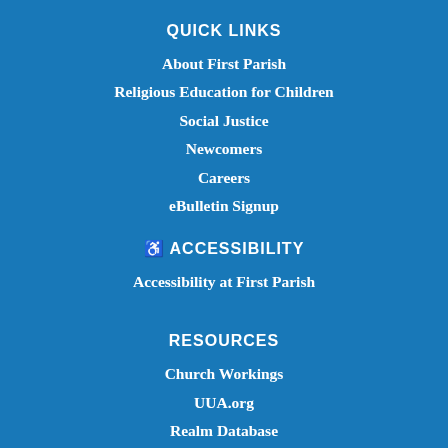QUICK LINKS
About First Parish
Religious Education for Children
Social Justice
Newcomers
Careers
eBulletin Signup
♿ ACCESSIBILITY
Accessibility at First Parish
RESOURCES
Church Workings
UUA.org
Realm Database